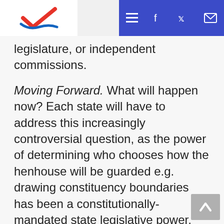[Logo: vote checkmark] [Navigation: menu, facebook, twitter, email]
legislature, or independent commissions.
Moving Forward.  What will happen now?  Each state will have to address this increasingly controversial question, as the power of determining who chooses how the henhouse will be guarded e.g. drawing constituency boundaries has been a constitutionally-mandated state legislative power, even if legislatures have, in some cases, delegated this authority.  A political consensus must form in each state over what process to use.
We have seen that the courts are now